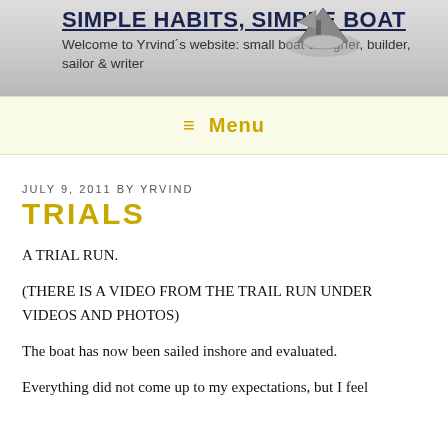SIMPLE HABITS, SIMPLE BOAT
Welcome to Yrvind´s website: small boat designer, builder, sailor & writer
≡ Menu
JULY 9, 2011 BY YRVIND
TRIALS
A TRIAL RUN.

(THERE IS A VIDEO FROM THE TRAIL RUN UNDER VIDEOS AND PHOTOS)

The boat has now been sailed inshore and evaluated.

Everything did not come up to my expectations, but I feel